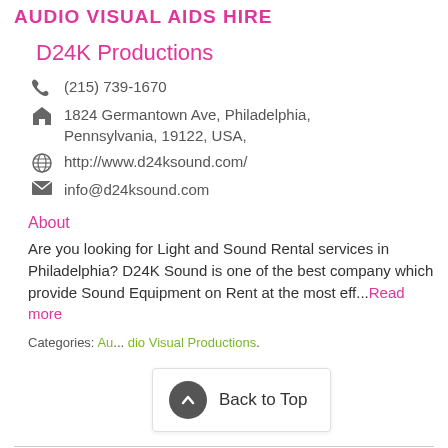AUDIO VISUAL AIDS HIRE
D24K Productions
(215) 739-1670
1824 Germantown Ave, Philadelphia, Pennsylvania, 19122, USA,
http://www.d24ksound.com/
info@d24ksound.com
About
Are you looking for Light and Sound Rental services in Philadelphia? D24K Sound is one of the best company which provide Sound Equipment on Rent at the most eff...Read more
Categories: Audio Visual Productions.